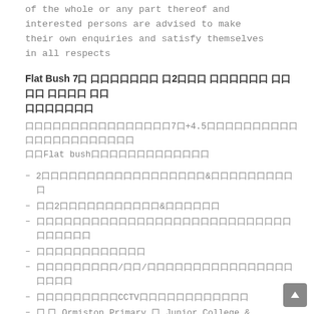of the whole or any part thereof and interested persons are advised to make their own enquiries and satisfy themselves in all respects
Flat Bush 7口 口口口口口口 口2口口口 口口口口口 口口口口 口口口口 口口 口口口口口口口
口口口口口口口口口口口口口口口口7口+4.5口口口口口口口口口口口口口口口口口口口口口口Flat bush口口口口口口口口口口口口
2口口口口口口口口口口口口口口口口口&口口口口口口口口口口
口口2口口口口口口口口口口口&口口口口口口
口口口口口口口口口口口口口口口口口口口口口口口口口口口口口口口口口
口口口口口口口口口口口口
口口口口口口口口/口口/口口口口口口口口口口口口口口口口口口口口
口口口口口口口口口CCTV口口口口口口口口口口口口
口 口 Ormiston Primary 口 Junior College & Senior College口口口
口口口口口口口口口口口口口口口口口口口口口口口口口口Manukau口口口口口